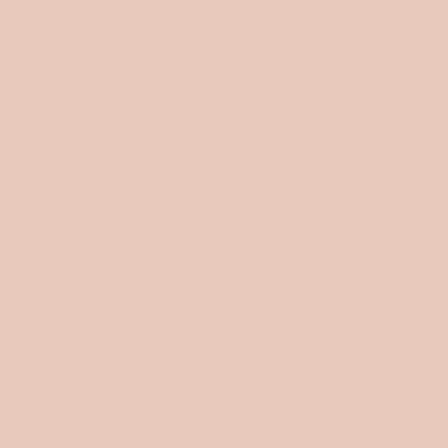Until next Sunday, I wi... week.
In Love, Light and Ser...
Adrian.
37 Sellers Drive, Leco...
To unsubscribe or cha... http://www.aweber.com...
Les my computer is pl... feel it appropriate
Thanks
Live [Scroll to Top] K...
Sunday, October 1...